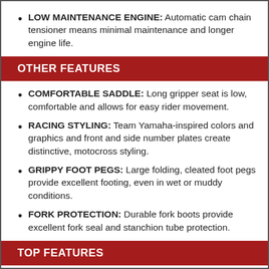LOW MAINTENANCE ENGINE: Automatic cam chain tensioner means minimal maintenance and longer engine life.
OTHER FEATURES
COMFORTABLE SADDLE: Long gripper seat is low, comfortable and allows for easy rider movement.
RACING STYLING: Team Yamaha-inspired colors and graphics and front and side number plates create distinctive, motocross styling.
GRIPPY FOOT PEGS: Large folding, cleated foot pegs provide excellent footing, even in wet or muddy conditions.
FORK PROTECTION: Durable fork boots provide excellent fork seal and stanchion tube protection.
TOP FEATURES
BROAD, ACCESSIBLE POWERBAND: YZ i…